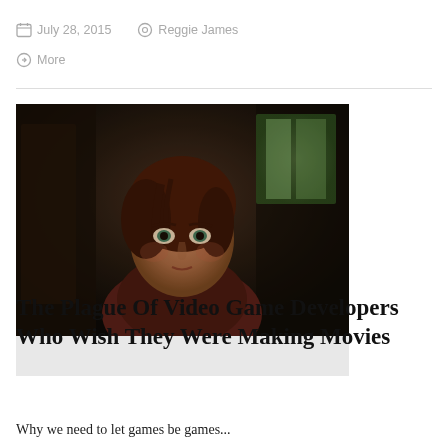July 28, 2015   Reggie James
More
[Figure (photo): Screenshot from a video game showing a young woman with auburn hair looking forward with a worried expression, in a dark, realistic art style. Below the image is a light grey caption bar.]
The Plague Of Video Game Developers Who Wish They Were Making Movies
Why we need to let games be games...